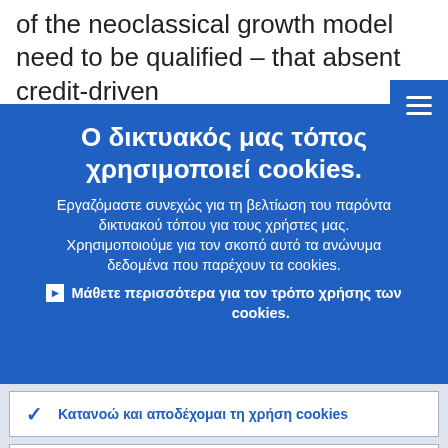of the neoclassical growth model need to be qualified – that absent credit-driven
[Figure (screenshot): Blue hamburger menu button (three horizontal white lines on blue background) in top-right corner]
Ο δικτυακός μας τόπος χρησιμοποιεί cookies.
Εργαζόμαστε συνεχώς για τη βελτίωση του παρόντα δικτυακού τόπου για τους χρήστες μας. Χρησιμοποιούμε για τον σκοπό αυτό τα ανώνυμα δεδομένα που παρέχουν τα cookies.
▶ Μάθετε περισσότερα για τον τρόπο χρήσης των cookies.
✓ Κατανοώ και αποδέχομαι τη χρήση cookies
✗ Δεν αποδέχομαι τη χρήση cookies